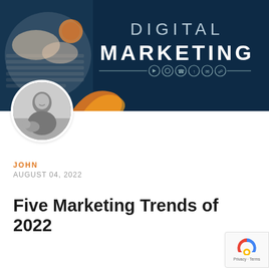[Figure (illustration): Digital Marketing hero banner with dark navy background, laptop keyboard image on left, 'DIGITAL MARKETING' text in center-right, and a row of circular social/digital icons below the text. An orange flame/swoosh design overlaps at bottom.]
[Figure (photo): Circular author profile photo showing a man smiling with a dog, black and white photo with white circular border.]
JOHN
AUGUST 04, 2022
Five Marketing Trends of 2022